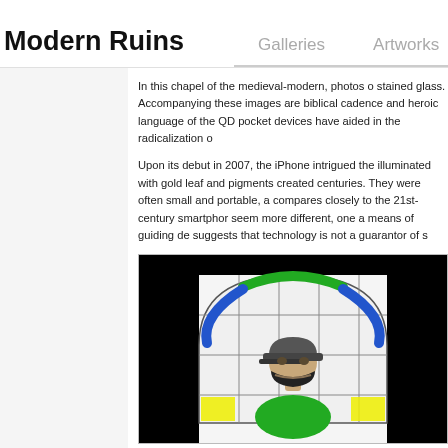Modern Ruins   Galleries   Artworks
In this chapel of the medieval-modern, photos of stained glass. Accompanying these images are biblical cadence and heroic language of the QD pocket devices have aided in the radicalization of
Upon its debut in 2007, the iPhone intrigued the illuminated with gold leaf and pigments created centuries. They were often small and portable, and compares closely to the 21st-century smartphone seem more different, one a means of guiding de suggests that technology is not a guarantor of s
[Figure (illustration): Stained glass style illustration of a figure wearing a green vest, black cap, and black face mask, set within an arched gothic window frame with green, blue, and yellow colored glass panels on a black background.]